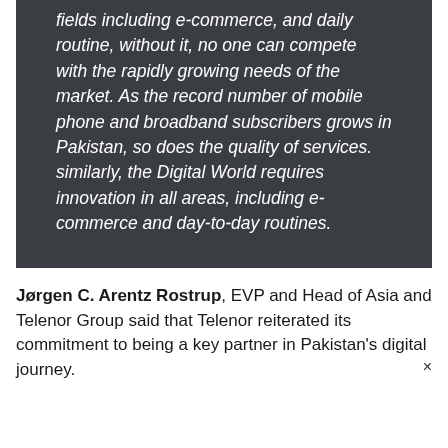fields including e-commerce, and daily routine, without it, no one can compete with the rapidly growing needs of the market. As the record number of mobile phone and broadband subscribers grows in Pakistan, so does the quality of services. similarly, the Digital World requires innovation in all areas, including e-commerce and day-to-day routines.
Jørgen C. Arentz Rostrup, EVP and Head of Asia and Telenor Group said that Telenor reiterated its commitment to being a key partner in Pakistan's digital journey.